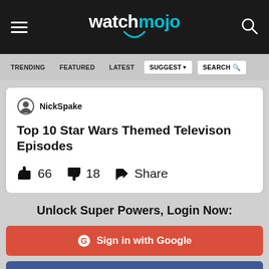watchmojo
TRENDING  FEATURED  LATEST  SUGGEST  SEARCH
NickSpake
Top 10 Star Wars Themed Televison Episodes
👍 66   👎 18   Share
Unlock Super Powers, Login Now:
G  Sign in with Google
f  Sign in with Facebook